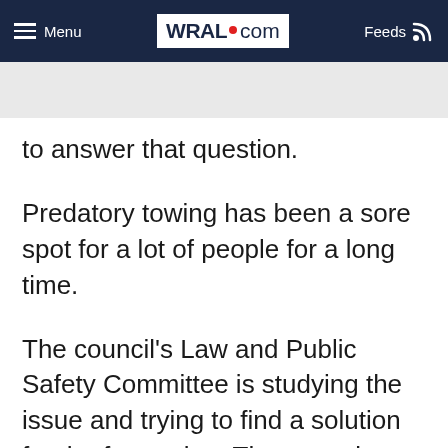Menu | WRAL.com | Feeds
to answer that question.
Predatory towing has been a sore spot for a lot of people for a long time.
The council's Law and Public Safety Committee is studying the issue and trying to find a solution for the frustration. The committee meets at 4 p.m. and the mayor's proposed towing ordinance is on the